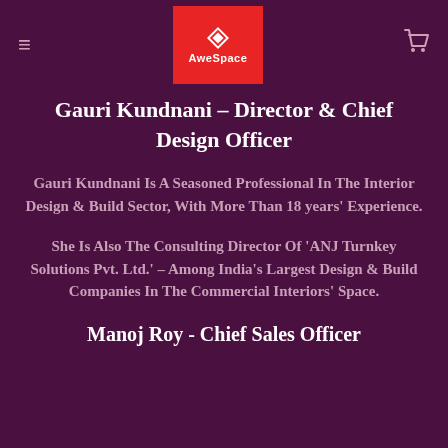AweSpace
Gauri Kundnani – Director & Chief Design Officer
Gauri Kundnani Is A Seasoned Professional In The Interior Design & Build Sector, With More Than 18 years' Experience.
She Is Also The Consulting Director Of 'ANJ Turnkey Solutions Pvt. Ltd.' – Among India's Largest Design & Build Companies In The Commercial Interiors' Space.
Manoj Roy - Chief Sales Officer